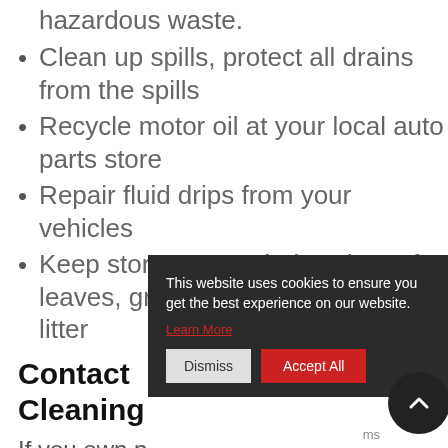hazardous waste.
Clean up spills, protect all drains from the spills
Recycle motor oil at your local auto parts store
Repair fluid drips from your vehicles
Keep storm sewer drains clear of leaves, grass clippings, sticks and litter
Contact
Cleaning
If you own p… storm drain … City, CA, call Specialized Pipe
This website uses cookies to ensure you get the best experience on our website. Learn More